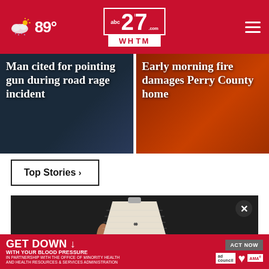abc27.com WHTM — 89°
Man cited for pointing gun during road rage incident
Early morning fire damages Perry County home
Top Stories ›
[Figure (photo): Hand holding a white conical smart home device against dark background]
GET DOWN ↓ WITH YOUR BLOOD PRESSURE — ACT NOW — In partnership with the Office of Minority Health and Health Resources & Services Administration